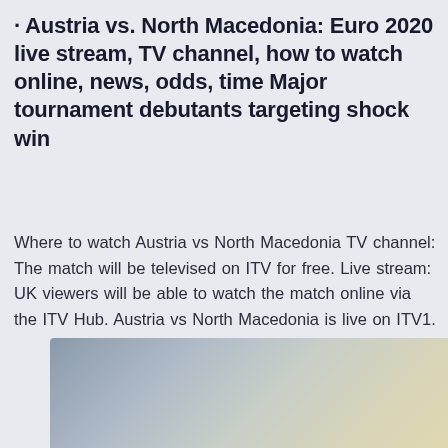· Austria vs. North Macedonia: Euro 2020 live stream, TV channel, how to watch online, news, odds, time Major tournament debutants targeting shock win
Where to watch Austria vs North Macedonia TV channel: The match will be televised on ITV for free. Live stream: UK viewers will be able to watch the match online via the ITV Hub. Austria vs North Macedonia is live on ITV1.
[Figure (photo): Partially visible image at the bottom of the page, showing a blurred/gradient background of grey, beige, and tan tones, likely a sports or stadium photo.]